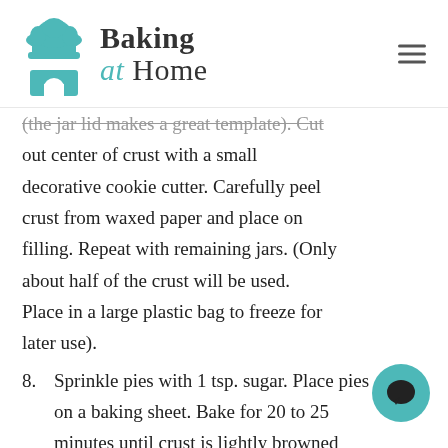Baking at Home
(the jar lid makes a great template). Cut out center of crust with a small decorative cookie cutter. Carefully peel crust from waxed paper and place on filling. Repeat with remaining jars. (Only about half of the crust will be used. Place in a large plastic bag to freeze for later use).
8. Sprinkle pies with 1 tsp. sugar. Place pies on a baking sheet. Bake for 20 to 25 minutes until crust is lightly browned